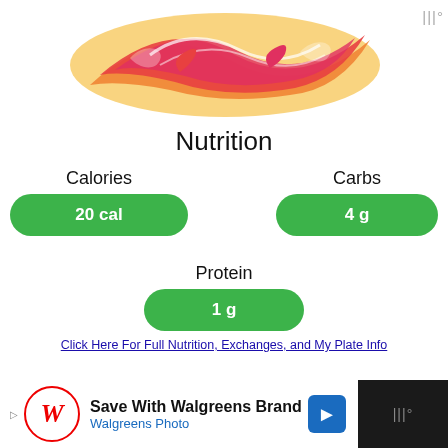[Figure (illustration): Decorative colorful swirling text/logo graphic in red, pink, orange and yellow colors at top of page]
Nutrition
Calories
20 cal
Carbs
4 g
Protein
1 g
Click Here For Full Nutrition, Exchanges, and My Plate Info
[Figure (logo): POWERED BY esha logo with triangle/prism icon]
[Figure (photo): Walgreens advertisement banner: Save With Walgreens Brand / Walgreens Photo, with Walgreens W logo and blue navigation arrow icon]